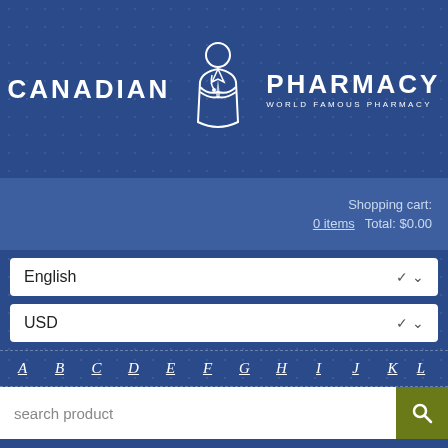[Figure (logo): Canadian Pharmacy logo with suited figure and text 'WORLD FAMOUS PHARMACY']
Shopping cart:
0 items   Total: $0.00
English (dropdown)
USD (dropdown)
A B C D E F G H I J K L
search product
Catalog
WHY ARE WE?
No prescription   Low prices